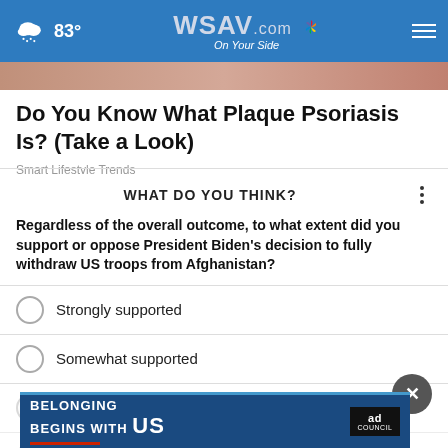WSAV.com On Your Side — 83°
Do You Know What Plaque Psoriasis Is? (Take a Look)
Smart Lifestyle Trends
WHAT DO YOU THINK?
Regardless of the overall outcome, to what extent did you support or oppose President Biden's decision to fully withdraw US troops from Afghanistan?
Strongly supported
Somewhat supported
S[omewhat opposed — partially obscured]
S[trongly opposed — partially obscured]
[Figure (screenshot): Ad banner: BELONGING BEGINS WITH US — Ad Council]